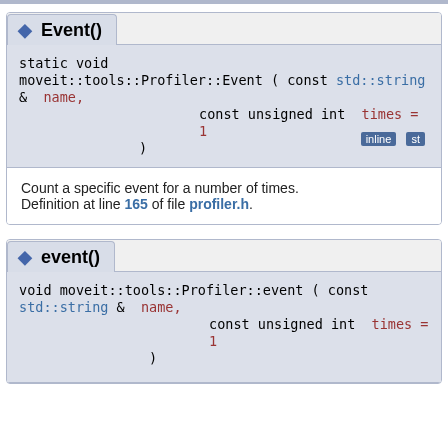Event()
static void
moveit::tools::Profiler::Event ( const std::string &  name,
                                const unsigned int  times = 1
                              )
Count a specific event for a number of times.
Definition at line 165 of file profiler.h.
event()
void moveit::tools::Profiler::event ( const std::string &  name,
                                     const unsigned int  times = 1
                                   )